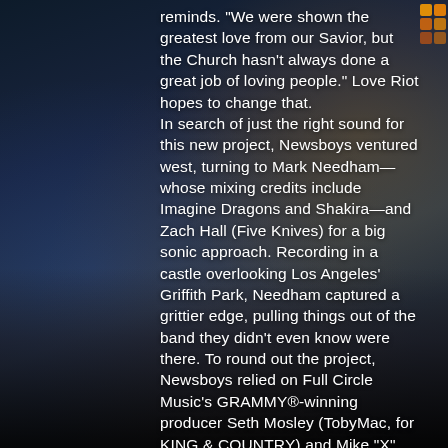reminds. "We were shown the greatest love from our Savior, but the Church hasn't always done a great job of loving people." Love Riot hopes to change that. In search of just the right sound for this new project, Newsboys ventured west, turning to Mark Needham—whose mixing credits include Imagine Dragons and Shakira—and Zach Hall (Five Knives) for a big sonic approach. Recording in a castle overlooking Los Angeles' Griffith Park, Needham captured a grittier edge, pulling things out of the band they didn't even know were there. To round out the project, Newsboys relied on Full Circle Music's GRAMMY®-winning producer Seth Mosley (TobyMac, for KING & COUNTRY) and Mike "X" O'Connor. The Nashville-based team has an innate...